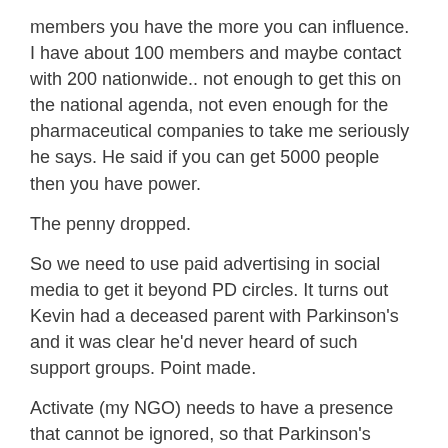members you have the more you can influence. I have about 100 members and maybe contact with 200 nationwide.. not enough to get this on the national agenda, not even enough for the pharmaceutical companies to take me seriously he says. He said if you can get 5000 people then you have power.
The penny dropped.
So we need to use paid advertising in social media to get it beyond PD circles. It turns out Kevin had a deceased parent with Parkinson's and it was clear he'd never heard of such support groups. Point made.
Activate (my NGO) needs to have a presence that cannot be ignored, so that Parkinson's treatment and education are actually on the agenda. And so that pharmaceutical companies will come to the party with conference funding, educational resources and doctors etc. Let's be honest – we'll always need them, but they need us too and if we group together, just maybe we can influence them for the better.